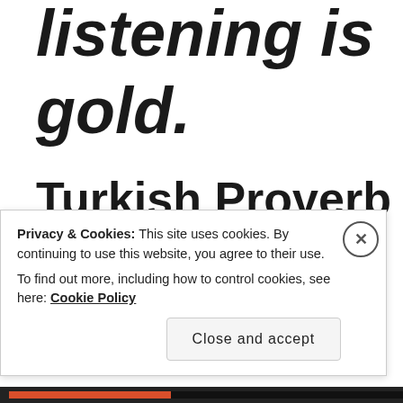listening is gold.
Turkish Proverb
Cou...
Privacy & Cookies: This site uses cookies. By continuing to use this website, you agree to their use.
To find out more, including how to control cookies, see here: Cookie Policy
Close and accept